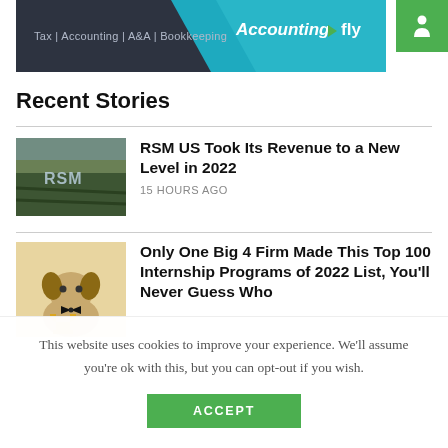[Figure (screenshot): Accountingfly banner advertisement showing 'Tax | Accounting | A&A | Bookkeeping' with Accountingfly logo on dark and cyan background]
[Figure (logo): Green square icon with white person/accessibility symbol in top right corner]
Recent Stories
[Figure (photo): RSM landscape/field photo with RSM watermark text over a countryside scene]
RSM US Took Its Revenue to a New Level in 2022
15 HOURS AGO
[Figure (photo): French bulldog with bow tie and trophy]
Only One Big 4 Firm Made This Top 100 Internship Programs of 2022 List, You'll Never Guess Who
This website uses cookies to improve your experience. We'll assume you're ok with this, but you can opt-out if you wish.